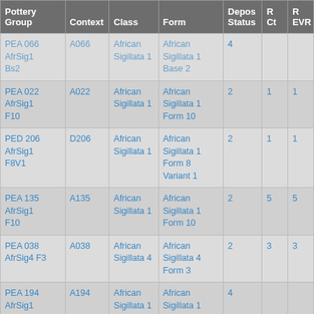| Pottery Group | Context | Class | Form | Depos Status | R Ct | R EVR |
| --- | --- | --- | --- | --- | --- | --- |
| PEA 066 AfrSig1 Bs2 | A066 | African Sigillata 1 | African Sigillata 1 Base 2 | 4 |  |  |
| PEA 022 AfrSig1 F10 | A022 | African Sigillata 1 | African Sigillata 1 Form 10 | 2 | 1 | 1 |
| PED 206 AfrSig1 F8V1 | D206 | African Sigillata 1 | African Sigillata 1 Form 8 Variant 1 | 2 | 1 | 1 |
| PEA 135 AfrSig1 F10 | A135 | African Sigillata 1 | African Sigillata 1 Form 10 | 2 | 5 | 5 |
| PEA 038 AfrSig4 F3 | A038 | African Sigillata 4 | African Sigillata 4 Form 3 | 2 | 3 | 3 |
| PEA 194 AfrSig1 Bd3 | A194 | African Sigillata 1 | African Sigillata 1 Body 3 | 4 |  |  |